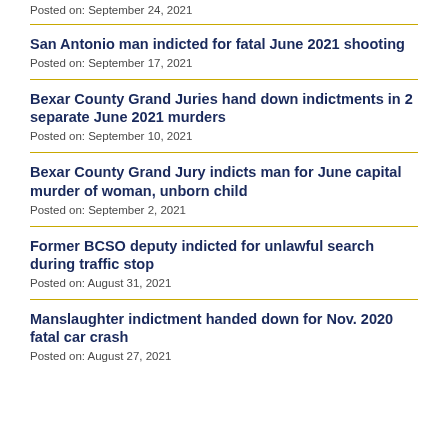Posted on: September 24, 2021
San Antonio man indicted for fatal June 2021 shooting
Posted on: September 17, 2021
Bexar County Grand Juries hand down indictments in 2 separate June 2021 murders
Posted on: September 10, 2021
Bexar County Grand Jury indicts man for June capital murder of woman, unborn child
Posted on: September 2, 2021
Former BCSO deputy indicted for unlawful search during traffic stop
Posted on: August 31, 2021
Manslaughter indictment handed down for Nov. 2020 fatal car crash
Posted on: August 27, 2021